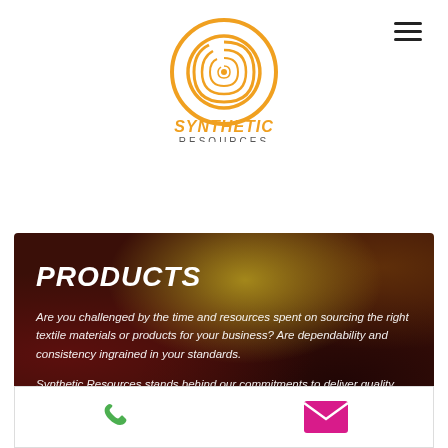[Figure (logo): Synthetic Resources logo — orange spiral/fingerprint circle graphic above the text SYNTHETIC in bold orange and RESOURCES in dark grey]
PRODUCTS
Are you challenged by the time and resources spent on sourcing the right textile materials or products for your business? Are dependability and consistency ingrained in your standards.
Synthetic Resources stands behind our commitments to deliver quality products at the right value.
[Figure (infographic): Bottom contact bar with a green phone handset icon on the left and a pink/magenta email envelope icon on the right]